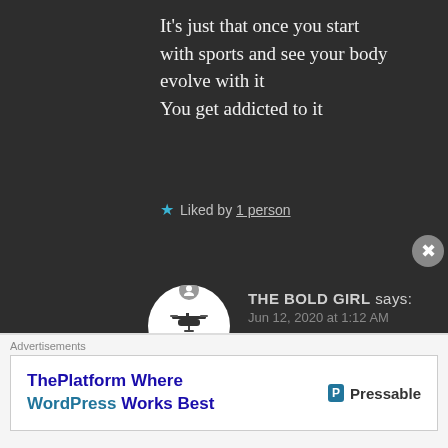It's just that once you start with sports and see your body evolve with it
You get addicted to it
★ Liked by 1 person
THE BOLD GIRL says:
Jun 12, 2020 at 1:12 AM
I know. And I love being active. I love walking a lot and taking the stairs is the best activity for
Advertisements
ThePlatform Where WordPress Works Best   P Pressable